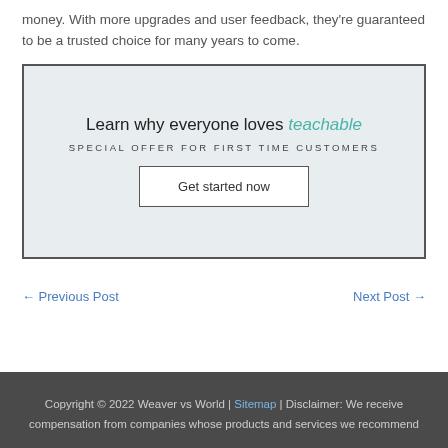money. With more upgrades and user feedback, they're guaranteed to be a trusted choice for many years to come.
[Figure (infographic): Teachable promotional banner with headline 'Learn why everyone loves teachable', subheadline 'SPECIAL OFFER FOR FIRST TIME CUSTOMERS', and a 'Get started now' button]
← Previous Post    Next Post →
Copyright © 2022 Weaver vs World | Sitemap | Disclaimer: We receive compensation from companies whose products and services we recommend